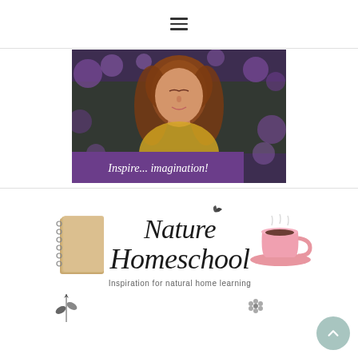☰ (hamburger menu icon)
[Figure (photo): A young girl with long red-brown hair lying in purple/lavender wildflowers, wearing a yellow floral dress, with a purple banner overlay at the bottom reading 'Inspire... imagination!']
[Figure (logo): Nature Homeschool logo featuring the text 'Nature Homeschool' in italic script with a tagline 'Inspiration for natural home learning', flanked by a notebook illustration on the left, a pink teacup on the right, and small botanical decorations]